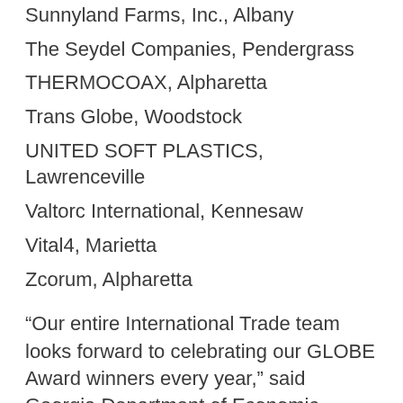Sunnyland Farms, Inc., Albany
The Seydel Companies, Pendergrass
THERMOCOAX, Alpharetta
Trans Globe, Woodstock
UNITED SOFT PLASTICS, Lawrenceville
Valtorc International, Kennesaw
Vital4, Marietta
Zcorum, Alpharetta
“Our entire International Trade team looks forward to celebrating our GLOBE Award winners every year,” said Georgia Department of Economic Development Deputy Commissioner for International Trade Mary Waters. “I’m very proud, not